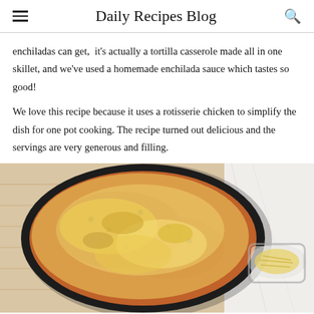Daily Recipes Blog
enchiladas can get,  it's actually a tortilla casserole made all in one skillet, and we've used a homemade enchilada sauce which tastes so good!
We love this recipe because it uses a rotisserie chicken to simplify the dish for one pot cooking. The recipe turned out delicious and the servings are very generous and filling.
[Figure (photo): Overhead view of a black skillet filled with a cheesy chicken enchilada casserole, topped with melted golden-brown cheese, sitting on a wooden cutting board. A small glass bowl of shredded cheese is visible to the right.]